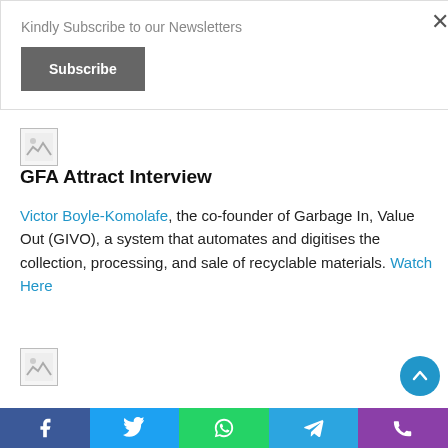Kindly Subscribe to our Newsletters
Subscribe
[Figure (illustration): Small thumbnail image placeholder with broken image icon]
GFA Attract Interview
Victor Boyle-Komolafe, the co-founder of Garbage In, Value Out (GIVO), a system that automates and digitises the collection, processing, and sale of recyclable materials. Watch Here
[Figure (illustration): Small thumbnail image placeholder with broken image icon]
[Figure (other): Social media share bar with Facebook, Twitter, WhatsApp, Telegram, Phone icons]